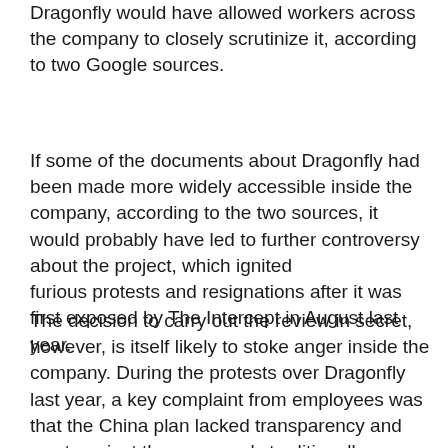Dragonfly would have allowed workers across the company to closely scrutinize it, according to two Google sources.
If some of the documents about Dragonfly had been made more widely accessible inside the company, according to the two sources, it would probably have led to further controversy about the project, which ignited furious protests and resignations after it was first exposed by The Intercept in August last year.
The decision to carry out the review in secret, however, is itself likely to stoke anger inside the company. During the protests over Dragonfly last year, a key complaint from employees was that the China plan lacked transparency and went against the company's traditionally open workplace culture